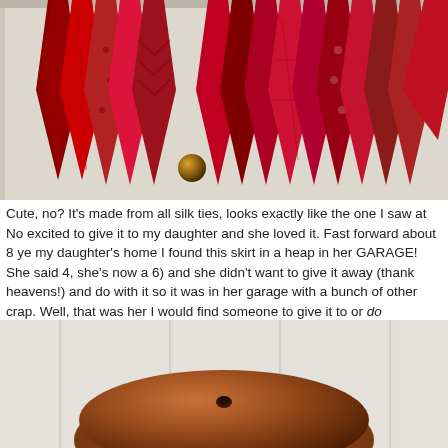[Figure (photo): Photo of multiple red silk neckties hanging on a white door, with a brass door knob visible]
Cute, no?  It's made from all silk ties, looks exactly like the one I saw at No... excited to give it to my daughter and she loved it.   Fast forward about 8 ye... my daughter's home I found this skirt in a heap in her GARAGE!  She said ... 4, she's now a 6) and she didn't want to give it away (thank heavens!) and ... do with it so it was in her garage with a bunch of other crap.  Well, that was... her I would find someone to give it to or do something with it - I just couldn...
[Figure (photo): Photo of a round brown velvet/suede tufted ottoman or stool against white beadboard paneling]